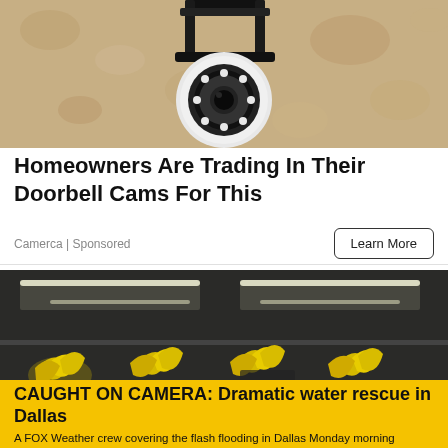[Figure (photo): Security camera mounted on textured stone/concrete wall]
Homeowners Are Trading In Their Doorbell Cams For This
Camerca | Sponsored
[Figure (photo): Grocery store produce section with bananas hanging from ceiling rack, lights overhead]
"I THOUGHT I WAS GOING TO DIE"
CAUGHT ON CAMERA: Dramatic water rescue in Dallas
A FOX Weather crew covering the flash flooding in Dallas Monday morning snapped into action to save a driver trapped in her car.